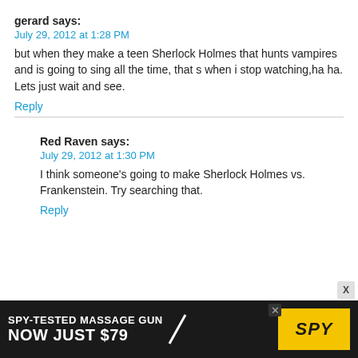gerard says:
July 29, 2012 at 1:28 PM
but when they make a teen Sherlock Holmes that hunts vampires and is going to sing all the time, that s when i stop watching,ha ha. Lets just wait and see.
Reply
Red Raven says:
July 29, 2012 at 1:30 PM
I think someone's going to make Sherlock Holmes vs. Frankenstein. Try searching that.
Reply
[Figure (other): Advertisement banner: SPY-TESTED MASSAGE GUN NOW JUST $79 with SPY logo on yellow background]